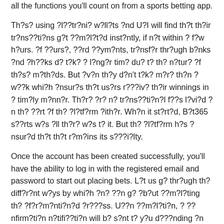all the functions you'll count on from a sports betting app.
Th?s? using ?l??tr?ni? w?ll?ts ?nd U?I will find th?t th?ir tr?ns??ti?ns g?t ??m?l?t?d inst?ntly, if n?t within ? f?w h?urs. ?f ??urs?, ??rd ??ym?nts, tr?nsf?r thr?ugh b?nks ?nd ?h??ks d? t?k? ? l?ng?r tim? du? t? th? n?tur? ?f th?s? m?th?ds. But ?v?n th?y d?n't t?k? m?r? th?n ? w??k whi?h ?nsur?s th?t us?rs r???iv? th?ir winnings in ? tim?ly m?nn?r. Th?r? ?r? n? tr?ns??ti?n?l f??s l?vi?d ?n th? ??rt ?f th? ?l?tf?rm ?ith?r. Wh?n it st?rt?d, B?t365 s??rts w?s ?ll th?r? w?s t? it. But th? ?l?tf?rm h?s ?nsur?d th?t th?t r?m?ins its s???i?lty.
Once the account has been created successfully, you'll have the ability to log in with the registered email and password to start out placing bets. L?t us g? thr?ugh th? diff?r?nt w?ys by whi?h ?n? ??n g? ?b?ut ??m?l?ting th? ?f?r?m?nti?n?d ?r???ss. U??n ??m?l?ti?n, ? ??nfirm?ti?n n?tifi??ti?n will b? s?nt t? y?u d???nding ?n th? m?th?d ?f y?